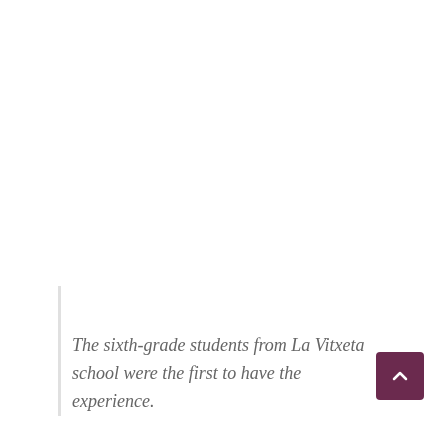The sixth-grade students from La Vitxeta school were the first to have the experience.